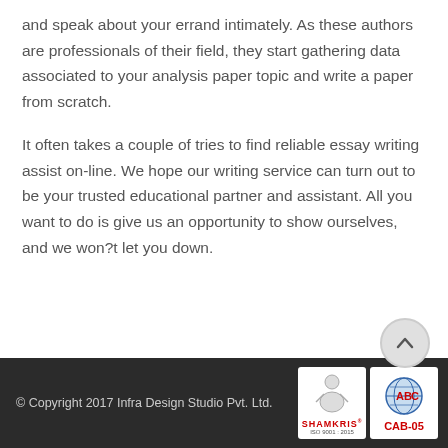and speak about your errand intimately. As these authors are professionals of their field, they start gathering data associated to your analysis paper topic and write a paper from scratch.
It often takes a couple of tries to find reliable essay writing assist on-line. We hope our writing service can turn out to be your trusted educational partner and assistant. All you want to do is give us an opportunity to show ourselves, and we won?t let you down.
© Copyright 2017 Infra Design Studio Pvt. Ltd.